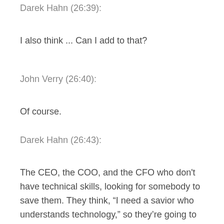Darek Hahn (26:39):
I also think ... Can I add to that?
John Verry (26:40):
Of course.
Darek Hahn (26:43):
The CEO, the COO, and the CFO who don't have technical skills, looking for somebody to save them. They think, “I need a savior who understands technology,” so they’re going to look for the technical person rather than they need somebody who can educate them, who can talk to them in their language, who can help them understand what they’re trying to do